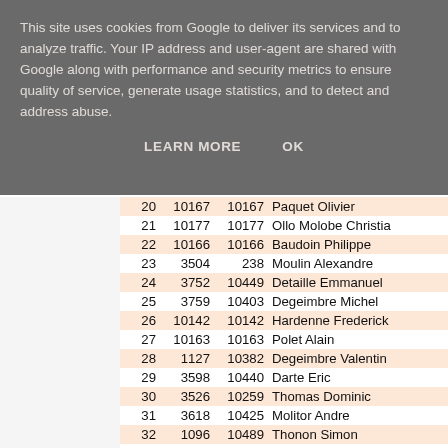This site uses cookies from Google to deliver its services and to analyze traffic. Your IP address and user-agent are shared with Google along with performance and security metrics to ensure quality of service, generate usage statistics, and to detect and address abuse.
LEARN MORE   OK
|  |  |  |  |
| --- | --- | --- | --- |
| 20 | 10167 | 10167 | Paquet Olivier |
| 21 | 10177 | 10177 | Ollo Molobe Christi… |
| 22 | 10166 | 10166 | Baudoin Philippe |
| 23 | 3504 | 238 | Moulin Alexandre |
| 24 | 3752 | 10449 | Detaille Emmanuel |
| 25 | 3759 | 10403 | Degeimbre Michel |
| 26 | 10142 | 10142 | Hardenne Frederick |
| 27 | 10163 | 10163 | Polet Alain |
| 28 | 1127 | 10382 | Degeimbre Valentin… |
| 29 | 3598 | 10440 | Darte Eric |
| 30 | 3526 | 10259 | Thomas Dominic |
| 31 | 3618 | 10425 | Molitor Andre |
| 32 | 1096 | 10489 | Thonon Simon |
| 33 | 10061 | 10061 | Wieme Philippe |